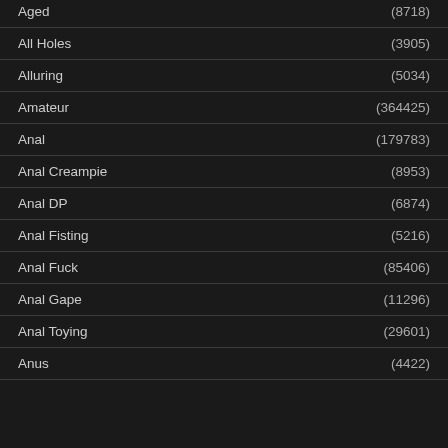Aged (8718)
All Holes (3905)
Alluring (5034)
Amateur (364425)
Anal (179783)
Anal Creampie (8953)
Anal DP (6874)
Anal Fisting (5216)
Anal Fuck (85406)
Anal Gape (11296)
Anal Toying (29601)
Anus (4422)